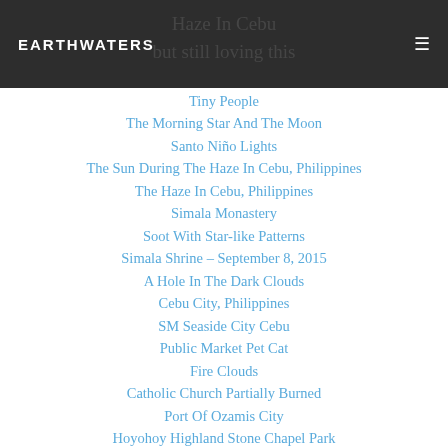EARTHWATERS
Tiny People
The Morning Star And The Moon
Santo Niño Lights
The Sun During The Haze In Cebu, Philippines
The Haze In Cebu, Philippines
Simala Monastery
Soot With Star-like Patterns
Simala Shrine – September 8, 2015
A Hole In The Dark Clouds
Cebu City, Philippines
SM Seaside City Cebu
Public Market Pet Cat
Fire Clouds
Catholic Church Partially Burned
Port Of Ozamis City
Hoyohoy Highland Stone Chapel Park
August 7, 2015, First Friday Mass